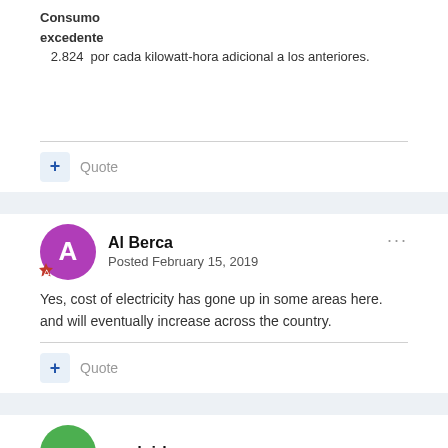Consumo excedente  2.824  por cada kilowatt-hora adicional a los anteriores.
+ Quote
Al Berca
Posted February 15, 2019
Yes, cost of electricity has gone up in some areas here. and will eventually increase across the country.
+ Quote
mudgirl